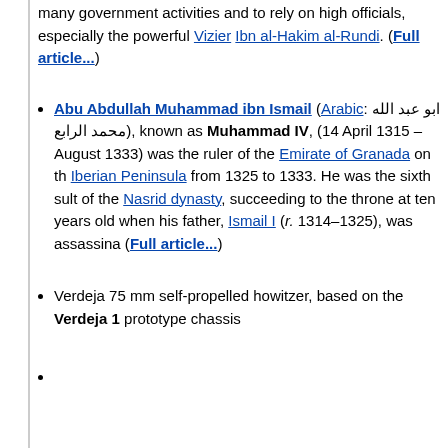many government activities and to rely on high officials, especially the powerful Vizier Ibn al-Hakim al-Rundi. (Full article...)
Abu Abdullah Muhammad ibn Ismail (Arabic: ابو عبد الله محمد الرابع), known as Muhammad IV, (14 April 1315 – August 1333) was the ruler of the Emirate of Granada on the Iberian Peninsula from 1325 to 1333. He was the sixth sultan of the Nasrid dynasty, succeeding to the throne at ten years old when his father, Ismail I (r. 1314–1325), was assassinated. (Full article...)
Verdeja 75 mm self-propelled howitzer, based on the Verdeja 1 prototype chassis